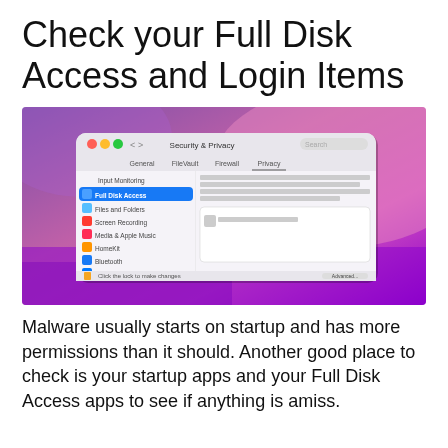Check your Full Disk Access and Login Items
[Figure (screenshot): macOS Security & Privacy System Preferences window showing Full Disk Access settings with a list of privacy categories (Input Monitoring, Full Disk Access highlighted in blue, Files and Folders, Screen Recording, Media & Apple Music, HomeKit, Bluetooth, User Availability, Automation) on the left sidebar, and an empty app list on the right, set against a colorful purple/pink macOS desktop background.]
Malware usually starts on startup and has more permissions than it should. Another good place to check is your startup apps and your Full Disk Access apps to see if anything is amiss.